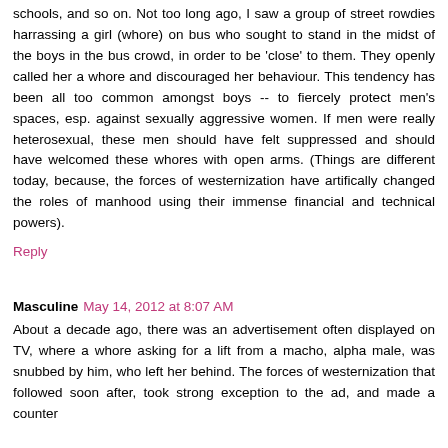schools, and so on. Not too long ago, I saw a group of street rowdies harrassing a girl (whore) on bus who sought to stand in the midst of the boys in the bus crowd, in order to be 'close' to them. They openly called her a whore and discouraged her behaviour. This tendency has been all too common amongst boys -- to fiercely protect men's spaces, esp. against sexually aggressive women. If men were really heterosexual, these men should have felt suppressed and should have welcomed these whores with open arms. (Things are different today, because, the forces of westernization have artifically changed the roles of manhood using their immense financial and technical powers).
Reply
Masculine  May 14, 2012 at 8:07 AM
About a decade ago, there was an advertisement often displayed on TV, where a whore asking for a lift from a macho, alpha male, was snubbed by him, who left her behind. The forces of westernization that followed soon after, took strong exception to the ad, and made a counter